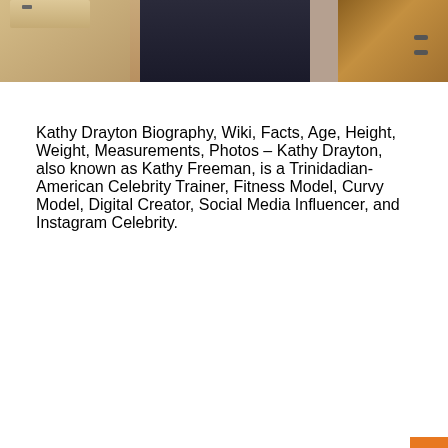[Figure (photo): Partial photo of Kathy Drayton showing a dark-clothed figure with wooden furniture/cabinetry visible on the sides and background]
Kathy Drayton Biography, Wiki, Facts, Age, Height, Weight, Measurements, Photos – Kathy Drayton, also known as Kathy Freeman, is a Trinidadian-American Celebrity Trainer, Fitness Model, Curvy Model, Digital Creator, Social Media Influencer, and Instagram Celebrity.